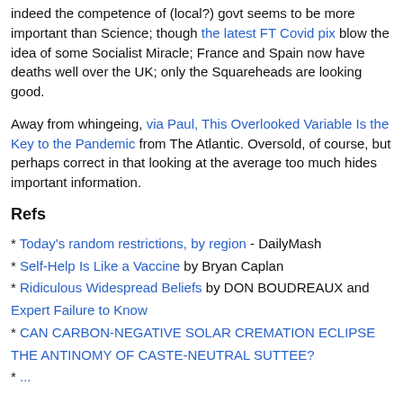indeed the competence of (local?) govt seems to be more important than Science; though the latest FT Covid pix blow the idea of some Socialist Miracle; France and Spain now have deaths well over the UK; only the Squareheads are looking good.
Away from whingeing, via Paul, This Overlooked Variable Is the Key to the Pandemic from The Atlantic. Oversold, of course, but perhaps correct in that looking at the average too much hides important information.
Refs
* Today's random restrictions, by region - DailyMash
* Self-Help Is Like a Vaccine by Bryan Caplan
* Ridiculous Widespread Beliefs by DON BOUDREAUX and Expert Failure to Know
* CAN CARBON-NEGATIVE SOLAR CREMATION ECLIPSE THE ANTINOMY OF CASTE-NEUTRAL SUTTEE?
* ...